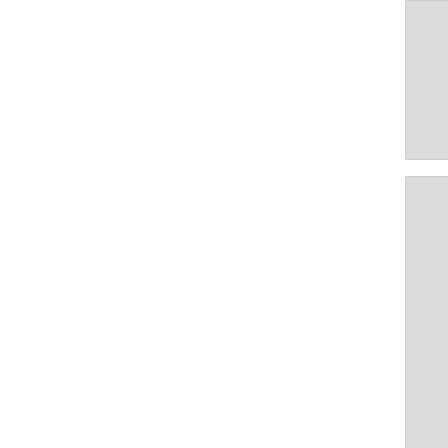[Figure (screenshot): File browser thumbnail grid showing image files. Top row shows two partial thumbnail cards with dates 2018/09/11 14:16 26.1 KB and 2018/09/11 14:51 36.5 KB. Middle row shows two thumbnail cards labeled sesh_det... with dimensions 1066x560, date 2018/09/11 14:54, 32.4 KB and 1067x600, date 2018/09/11 14:55, 40.9 KB. Bottom row shows two partial thumbnail cards labeled sesh_res... with dimensions 223x54, date 2018/07/17. A third partial column is cut off on the right edge.]